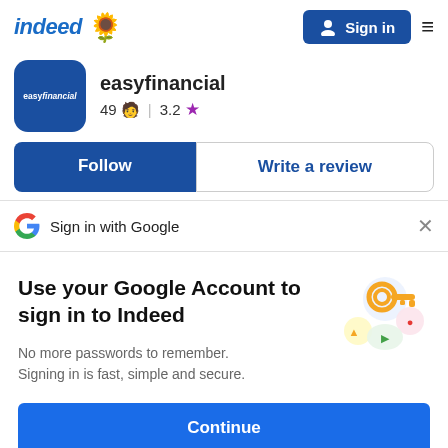indeed [sunflower emoji] | Sign in [hamburger menu]
easyfinancial
49 [emoji] | 3.2 [star]
Follow | Write a review
Sign in with Google
Use your Google Account to sign in to Indeed
No more passwords to remember.
Signing in is fast, simple and secure.
Continue